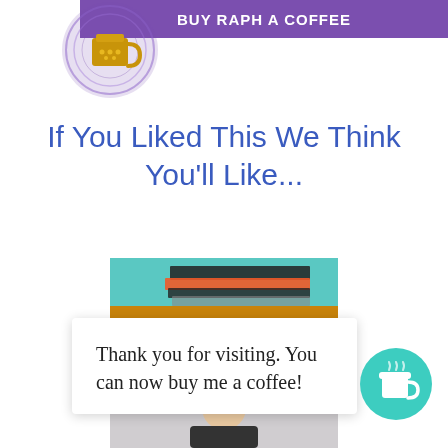[Figure (logo): Purple banner with coffee cup logo and 'BUY RAPH A COFFEE' text]
If You Liked This We Think You'll Like...
[Figure (photo): Article thumbnail showing books and TEACH letters with overlay text 'Why Teaching Could Be The Best (And Most Noble) Career Choice']
[Figure (photo): Partial photo of a person, bottom of page]
Thank you for visiting. You can now buy me a coffee!